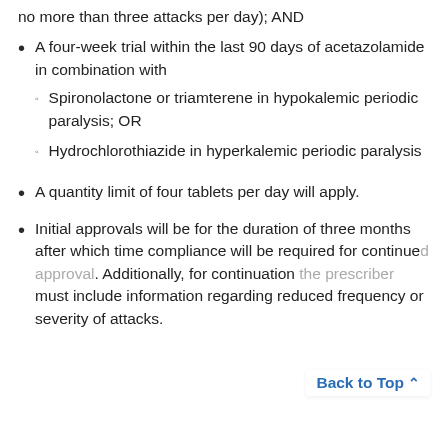no more than three attacks per day); AND
A four-week trial within the last 90 days of acetazolamide in combination with
Spironolactone or triamterene in hypokalemic periodic paralysis; OR
Hydrochlorothiazide in hyperkalemic periodic paralysis
A quantity limit of four tablets per day will apply.
Initial approvals will be for the duration of three months after which time compliance will be required for continued approval. Additionally, for continuation the prescriber must include information regarding reduced frequency or severity of attacks.